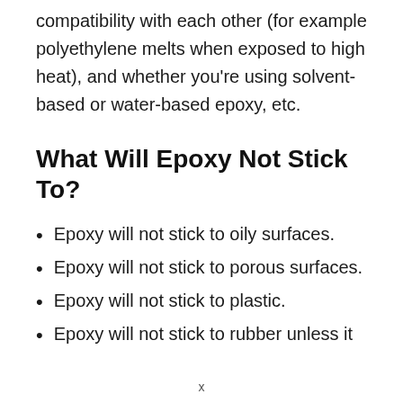compatibility with each other (for example polyethylene melts when exposed to high heat), and whether you're using solvent-based or water-based epoxy, etc.
What Will Epoxy Not Stick To?
Epoxy will not stick to oily surfaces.
Epoxy will not stick to porous surfaces.
Epoxy will not stick to plastic.
Epoxy will not stick to rubber unless it
x